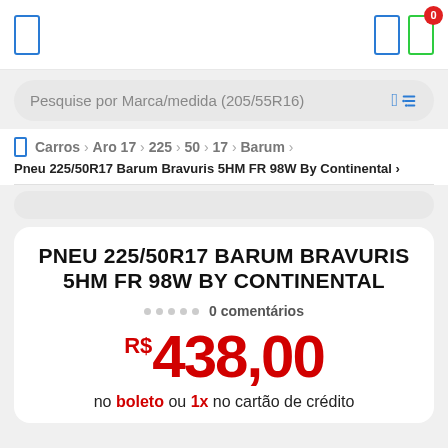Navigation bar with menu icon and cart icons
Pesquise por Marca/medida (205/55R16)
Carros > Aro 17 > 225 > 50 > 17 > Barum > Pneu 225/50R17 Barum Bravuris 5HM FR 98W By Continental >
PNEU 225/50R17 BARUM BRAVURIS 5HM FR 98W BY CONTINENTAL
0 comentários
R$ 438,00
no boleto ou 1x no cartão de crédito